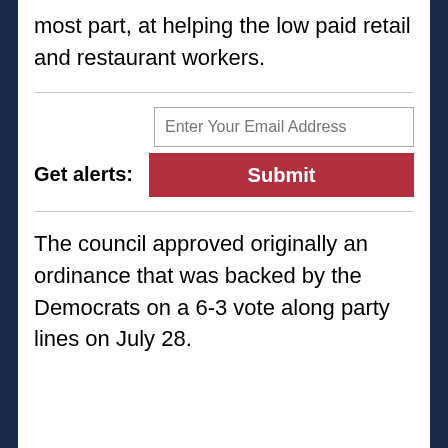most part, at helping the low paid retail and restaurant workers.
Get alerts: [email input] Submit
The council approved originally an ordinance that was backed by the Democrats on a 6-3 vote along party lines on July 28.